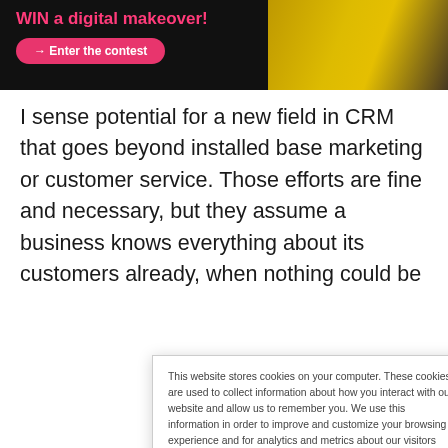[Figure (photo): Dark banner advertisement with text 'WIN a digital makeover!' in pink/magenta and a pink button 'Enter the contest', with a woman in yellow clothing on the right side]
I sense potential for a new field in CRM that goes beyond installed base marketing or customer service. Those efforts are fine and necessary, but they assume a business knows everything about its customers already, when nothing could be
This website stores cookies on your computer. These cookies are used to collect information about how you interact with our website and allow us to remember you. We use this information in order to improve and customize your browsing experience and for analytics and metrics about our visitors both on this website and other media. To find out more about the cookies we use, see our Privacy Policy. California residents have the right to direct us not to sell their personal information to third parties by filing an Opt-Out Request: Do Not Sell My Personal Info.
Accept